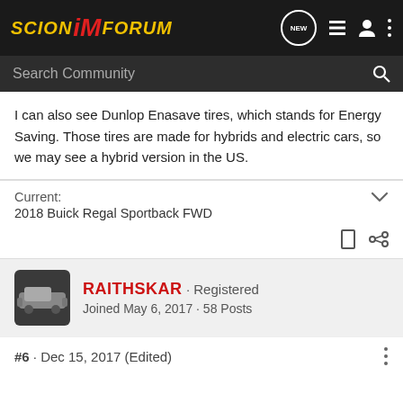SCION iM FORUM — navigation bar with NEW, list, user, and menu icons
Search Community
I can also see Dunlop Enasave tires, which stands for Energy Saving. Those tires are made for hybrids and electric cars, so we may see a hybrid version in the US.
Current:
2018 Buick Regal Sportback FWD
RAITHSKAR · Registered
Joined May 6, 2017 · 58 Posts
#6 · Dec 15, 2017 (Edited)